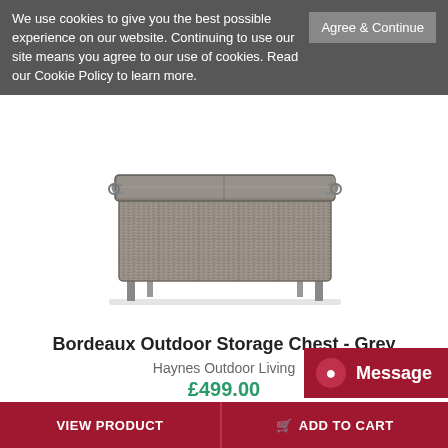We use cookies to give you the best possible experience on our website. Continuing to use our site means you agree to our use of cookies. Read our Cookie Policy to learn more.
Agree & Continue
[Figure (photo): Bordeaux Outdoor Storage Chest in grey wicker/rattan weave, rectangular shape with lid slightly raised, two small handles on sides, and four thin metal legs.]
Bordeaux Outdoor Storage Chest - Grey
Haynes Outdoor Living
£499.00
VIEW PRODUCT
ADD TO CART
Message